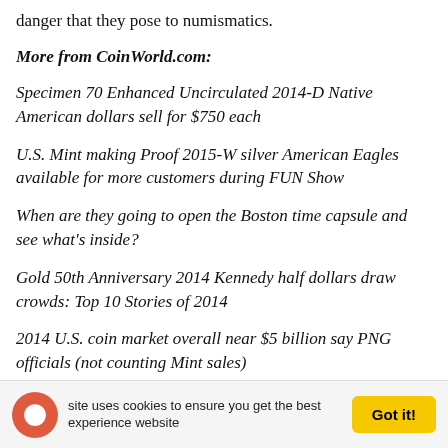danger that they pose to numismatics.
More from CoinWorld.com:
Specimen 70 Enhanced Uncirculated 2014-D Native American dollars sell for $750 each
U.S. Mint making Proof 2015-W silver American Eagles available for more customers during FUN Show
When are they going to open the Boston time capsule and see what's inside?
Gold 50th Anniversary 2014 Kennedy half dollars draw crowds: Top 10 Stories of 2014
2014 U.S. coin market overall near $5 billion say PNG officials (not counting Mint sales)
Keep up with all of CoinWorld.com's news and
This site uses cookies to ensure you get the best experience on our website